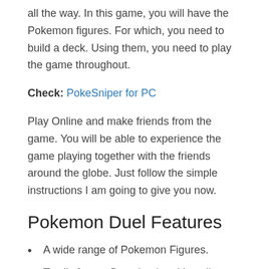all the way. In this game, you will have the Pokemon figures. For which, you need to build a deck. Using them, you need to play the game throughout.
Check: PokeSniper for PC
Play Online and make friends from the game. You will be able to experience the game playing together with the friends around the globe. Just follow the simple instructions I am going to give you now.
Pokemon Duel Features
A wide range of Pokemon Figures.
Totally free to Download and Install.
One of the coolest strategy board games.
Build a Deck with your Favourite Pokemon Figures.
Play Single Player and Multi-Player game.